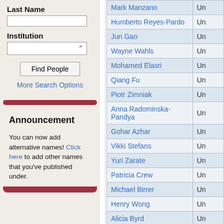Last Name
Institution
Find People
More Search Options
Announcement
You can now add alternative names! Click here to add other names that you've published under.
| Name | Institution |
| --- | --- |
| Mark Manzano | Un |
| Humberto Reyes-Pardo | Un |
| Jun Gao | Un |
| Wayne Wahls | Un |
| Mohamed Elasri | Un |
| Qiang Fu | Un |
| Piotr Zimniak | Un |
| Anna Radominska-Pandya | Un |
| Gohar Azhar | Un |
| Vikki Stefans | Un |
| Yuri Zarate | Un |
| Patricia Crew | Un |
| Michael Birrer | Un |
| Henry Wong | Un |
| Alicia Byrd | Un |
| Mari Davidson | Un |
| Sree Vamsee Chintapalli | Un |